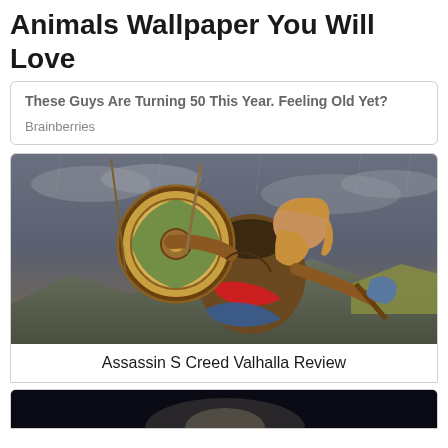Animals Wallpaper You Will Love
These Guys Are Turning 50 This Year. Feeling Old Yet?
Brainberries
[Figure (illustration): Assassin's Creed Valhalla viking warrior character holding a shield and axe in a battle scene with stormy sky background]
Assassin S Creed Valhalla Review
[Figure (photo): Partially visible bottom image, dark background with bright light in center]